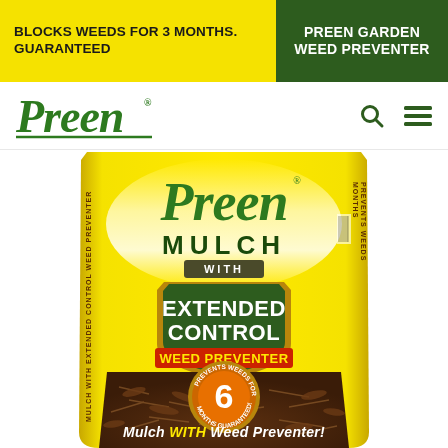BLOCKS WEEDS FOR 3 MONTHS. GUARANTEED | PREEN GARDEN WEED PREVENTER
[Figure (logo): Preen brand logo in green italic serif font with registered trademark symbol and underline]
[Figure (photo): Preen Mulch with Extended Control Weed Preventer product bag - yellow bag with brown mulch visible, featuring a shield badge reading EXTENDED CONTROL WEED PREVENTER, a circular badge reading PREVENTS WEEDS FOR UP TO 6 MONTHS GUARANTEED, and text Mulch WITH Weed Preventer!]